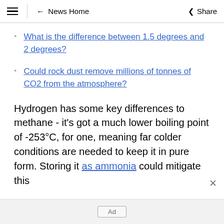≡ | ← News Home   Share
What is the difference between 1.5 degrees and 2 degrees?
Could rock dust remove millions of tonnes of CO2 from the atmosphere?
Hydrogen has some key differences to methane - it's got a much lower boiling point of -253°C, for one, meaning far colder conditions are needed to keep it in pure form. Storing it as ammonia could mitigate this